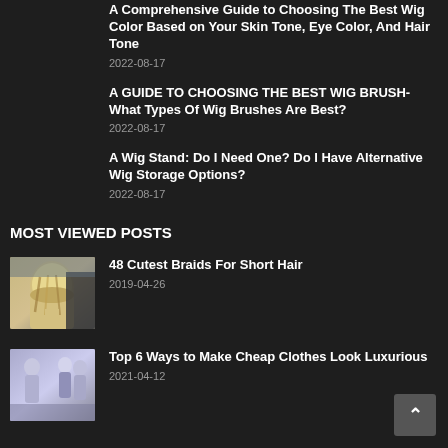A Comprehensive Guide to Choosing The Best Wig Color Based on Your Skin Tone, Eye Color, And Hair Tone
2022-08-17
A GUIDE TO CHOOSING THE BEST WIG BRUSH- What Types Of Wig Brushes Are Best?
2022-08-17
A Wig Stand: Do I Need One? Do I Have Alternative Wig Storage Options?
2022-08-17
MOST VIEWED POSTS
48 Cutest Braids For Short Hair
2019-04-26
Top 6 Ways to Make Cheap Clothes Look Luxurious
2021-04-12